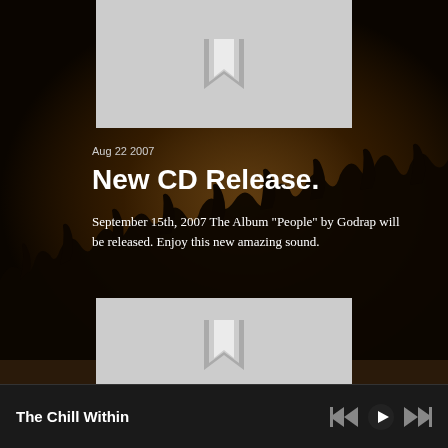[Figure (photo): Album art placeholder with bookmark icon on light gray background (top)]
Aug 22 2007
New CD Release.
September 15th, 2007 The Album "People" by Godrap will be released. Enjoy this new amazing sound.
[Figure (photo): Album art placeholder with bookmark icon on light gray background (bottom)]
The Chill Within